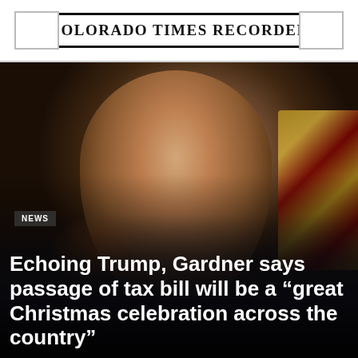COLORADO TIMES RECORDER
[Figure (photo): Photo of a smiling man in a dark suit and tie, photographed at a dark event venue with warm stage lighting and decorative signage in the background.]
NEWS
Echoing Trump, Gardner says passage of tax bill will be a “great Christmas celebration across the country”